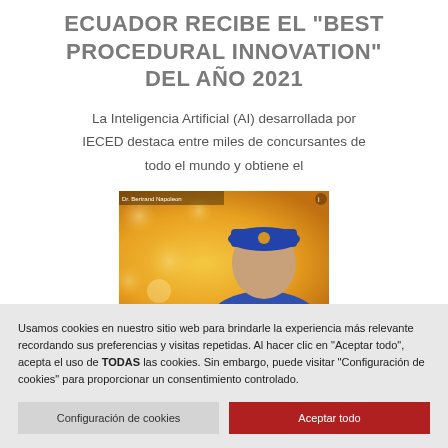ECUADOR RECIBE EL "BEST PROCEDURAL INNOVATION" DEL AÑO 2021
La Inteligencia Artificial (AI) desarrollada por IECED destaca entre miles de concursantes de todo el mundo y obtiene el
[Figure (photo): A person wearing a blue hat/headwear against a warm golden bokeh background, with partial overlay text reading 'Dr. Bertrand Napoleon']
Usamos cookies en nuestro sitio web para brindarle la experiencia más relevante recordando sus preferencias y visitas repetidas. Al hacer clic en "Aceptar todo", acepta el uso de TODAS las cookies. Sin embargo, puede visitar "Configuración de cookies" para proporcionar un consentimiento controlado.